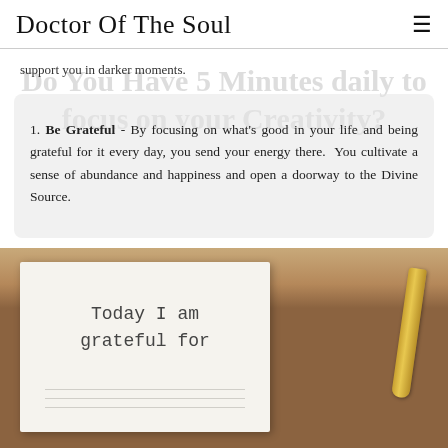Doctor Of The Soul
support you in darker moments.
Do You Have 5 Minutes daily to focus on your Creativity?
1. Be Grateful - By focusing on what’s good in your life and being grateful for it every day, you send your energy there. You cultivate a sense of abundance and happiness and open a doorway to the Divine Source.
[Figure (photo): Open notebook on a wooden table with handwritten text 'Today I am grateful for' and a gold pen resting beside it.]